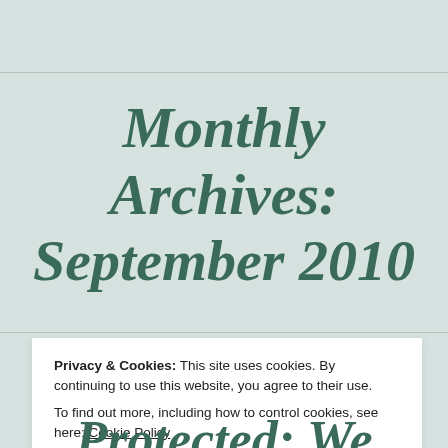Monthly Archives: September 2010
Privacy & Cookies: This site uses cookies. By continuing to use this website, you agree to their use.
To find out more, including how to control cookies, see here: Cookie Policy
Close and accept
Protected: We